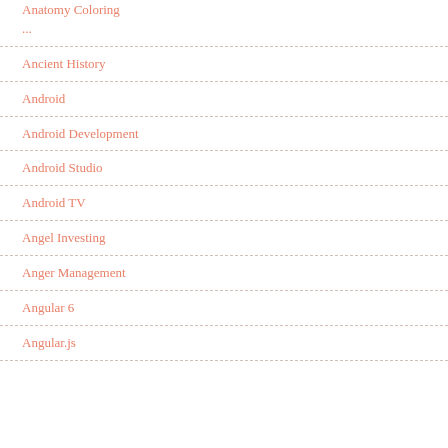Anatomy Coloring
Ancient History
Android
Android Development
Android Studio
Android TV
Angel Investing
Anger Management
Angular 6
Angular.js